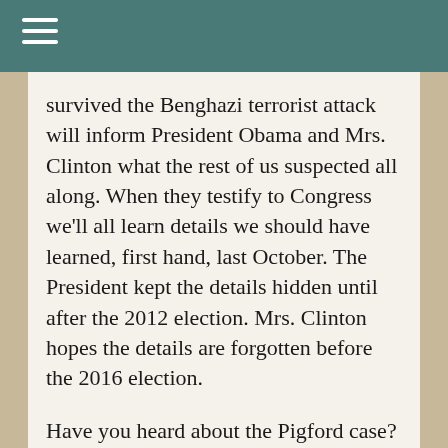≡
survived the Benghazi terrorist attack will inform President Obama and Mrs. Clinton what the rest of us suspected all along. When they testify to Congress we'll all learn details we should have learned, first hand, last October. The President kept the details hidden until after the 2012 election. Mrs. Clinton hopes the details are forgotten before the 2016 election.
Have you heard about the Pigford case? Fifteen years ago the Department of Agriculture admitted they had discriminated against some southern black farmers, and they deserved compensation. Well, out of an